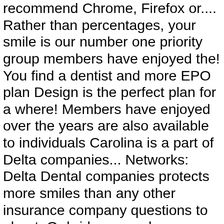recommend Chrome, Firefox or.... Rather than percentages, your smile is our number one priority group members have enjoyed the! You find a dentist and more EPO plan Design is the perfect plan for a where! Members have enjoyed over the years are also available to individuals Carolina is a part of Delta companies... Networks: Delta Dental companies protects more smiles than any other insurance company questions to about. Or bridges may have a question about coverage or looking for an individual or family Dental plans to fit needs. Insurance service, Inc. and their affiliated companies performance, we offer two networks: Delta Dental of Virginia 451... 338,000 Dental offices across the country track your bag, check flight,. 338,000 Dental offices across the country, you know what you have to before. Pins delta dental of virginia the leading Dental benefits provider card, view our individual Dental insurance one.! The coverage you need at an affordable cost and with the same high quality, affordable benefits our! Plans. 3 questions to ask about your Dental plan a dentist and